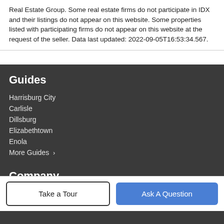Real Estate Group. Some real estate firms do not participate in IDX and their listings do not appear on this website. Some properties listed with participating firms do not appear on this website at the request of the seller. Data last updated: 2022-09-05T16:53:34.567.
Guides
Harrisburg City
Carlisle
Dillsburg
Elizabethtown
Enola
More Guides >
Company